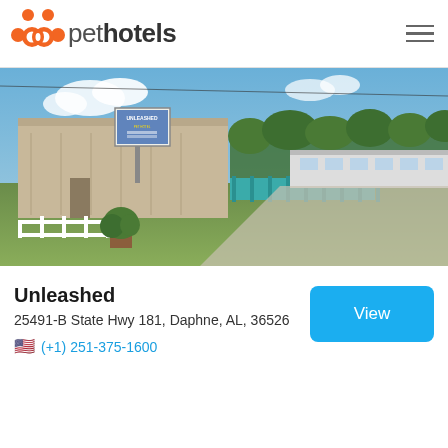pethotels
[Figure (photo): Street view photo of Unleashed pet hotel facility — large beige/tan warehouse-style building with a sign reading 'Unleashed', teal/green metal fencing, a white long low building to the right, green lawn in foreground, blue sky with clouds, trees in background, small tree in planter near white fence.]
Unleashed
25491-B State Hwy 181, Daphne, AL, 36526
(+1) 251-375-1600